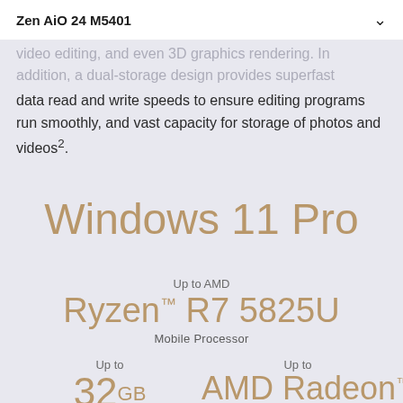Zen AiO 24 M5401
video editing, and even 3D graphics rendering. In addition, a dual-storage design provides superfast data read and write speeds to ensure editing programs run smoothly, and vast capacity for storage of photos and videos².
Windows 11 Pro
Up to AMD
Ryzen™ R7 5825U
Mobile Processor
Up to
32 GB
Up to
AMD Radeon™